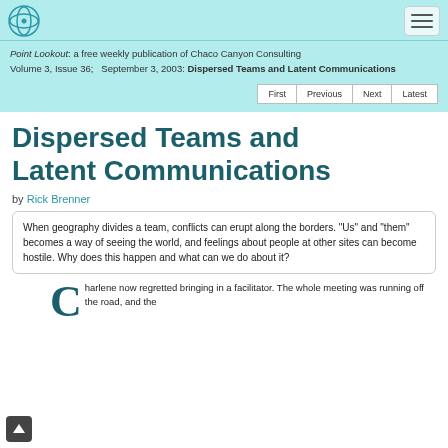Point Lookout: a free weekly publication of Chaco Canyon Consulting
Volume 3, Issue 36;   September 3, 2003: Dispersed Teams and Latent Communications
Dispersed Teams and Latent Communications
by Rick Brenner
When geography divides a team, conflicts can erupt along the borders. "Us" and "them" becomes a way of seeing the world, and feelings about people at other sites can become hostile. Why does this happen and what can we do about it?
Charlene now regretted bringing in a facilitator. The whole meeting was running off the road, and the ...